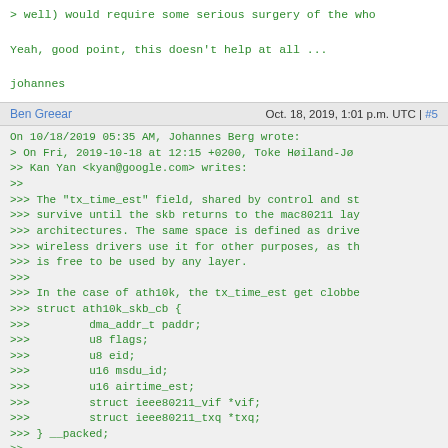> well) would require some serious surgery of the who

Yeah, good point, this doesn't help at all ...

johannes
Ben Greear   Oct. 18, 2019, 1:01 p.m. UTC | #5
On 10/18/2019 05:35 AM, Johannes Berg wrote:
> On Fri, 2019-10-18 at 12:15 +0200, Toke Høiland-Jø
>> Kan Yan <kyan@google.com> writes:
>>
>>> The "tx_time_est" field, shared by control and st
>>> survive until the skb returns to the mac80211 lay
>>> architectures. The same space is defined as drive
>>> wireless drivers use it for other purposes, as th
>>> is free to be used by any layer.
>>>
>>> In the case of ath10k, the tx_time_est get clobbe
>>> struct ath10k_skb_cb {
>>>         dma_addr_t paddr;
>>>         u8 flags;
>>>         u8 eid;
>>>         u16 msdu_id;
>>>         u16 airtime_est;
>>>         struct ieee80211_vif *vif;
>>>         struct ieee80211_txq *txq;
>>> } __packed;
>>
>> Ah, bugger, of course the driver that actually nee
>> full_driver_data_space_:D